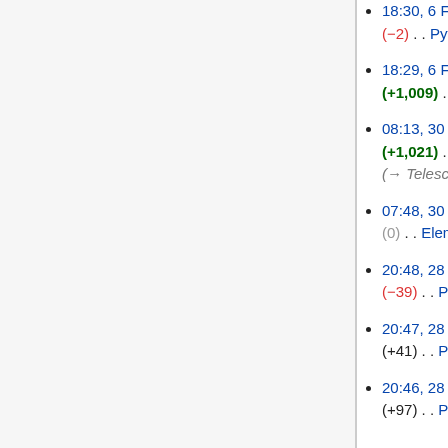18:30, 6 February 2013 (diff | hist) . . (−2) . . Python for Physics and Astronomy
18:29, 6 February 2013 (diff | hist) . . (+1,009) . . Python for Physics and Astronomy
08:13, 30 January 2013 (diff | hist) . . (+1,021) . . Light and Telescopes (→Telescopes) (current)
07:48, 30 January 2013 (diff | hist) . . (0) . . Elementary Astronomy Laboratory Activities
20:48, 28 January 2013 (diff | hist) . . (−39) . . Python for Physics and Astronomy
20:47, 28 January 2013 (diff | hist) . . (+41) . . Python for Physics and Astronomy
20:46, 28 January 2013 (diff | hist) . . (+97) . . Python for Physics and